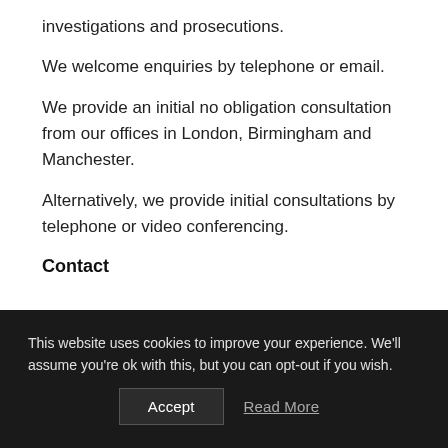investigations and prosecutions.
We welcome enquiries by telephone or email.
We provide an initial no obligation consultation from our offices in London, Birmingham and Manchester.
Alternatively, we provide initial consultations by telephone or video conferencing.
Contact
This website uses cookies to improve your experience. We'll assume you're ok with this, but you can opt-out if you wish.
Accept
Read More